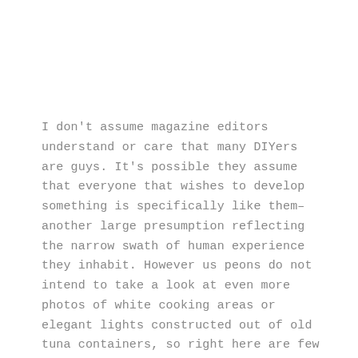I don't assume magazine editors understand or care that many DIYers are guys. It's possible they assume that everyone that wishes to develop something is specifically like them– another large presumption reflecting the narrow swath of human experience they inhabit. However us peons do not intend to take a look at even more photos of white cooking areas or elegant lights constructed out of old tuna containers, so right here are few points I'm doing in my garage.